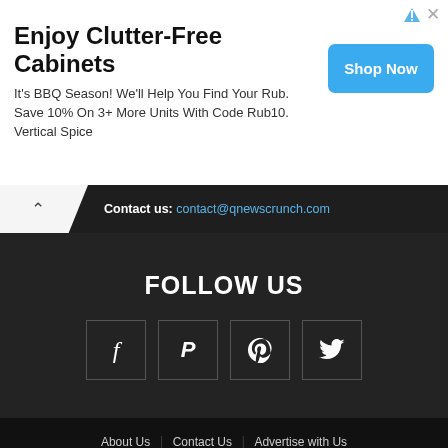[Figure (screenshot): Advertisement banner: 'Enjoy Clutter-Free Cabinets' with Shop Now button and ad icons]
Contact us: contact@qnewscrunch.com
FOLLOW US
[Figure (infographic): Social media icons: Facebook, PayPal/P, Pinterest, Twitter in dark bordered boxes]
About Us   Contact Us   Advertise with Us   Privacy Policy and Disclaimer   Terms of Service   © 2022. QNewsCrunch, A Brand by QNewsHub Media.